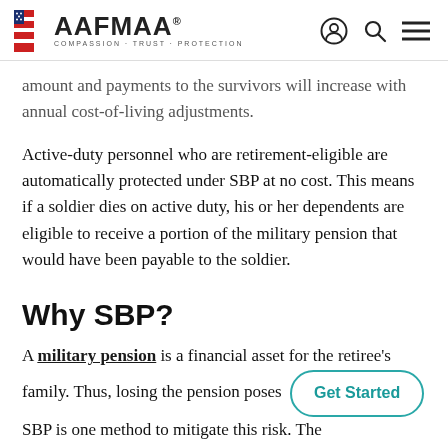AAFMAA — COMPASSION · TRUST · PROTECTION
amount and payments to the survivors will increase with annual cost-of-living adjustments.
Active-duty personnel who are retirement-eligible are automatically protected under SBP at no cost. This means if a soldier dies on active duty, his or her dependents are eligible to receive a portion of the military pension that would have been payable to the soldier.
Why SBP?
A military pension is a financial asset for the retiree's family. Thus, losing the pension poses [Get Started] SBP is one method to mitigate this risk. The protection afforded SBP is comparable to life